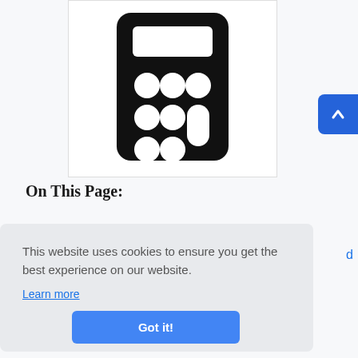[Figure (illustration): Calculator icon — black rounded rectangle with a white display area at top and button grid (circles and rectangles) below, on white background]
On This Page:
This website uses cookies to ensure you get the best experience on our website.
Learn more
Got it!